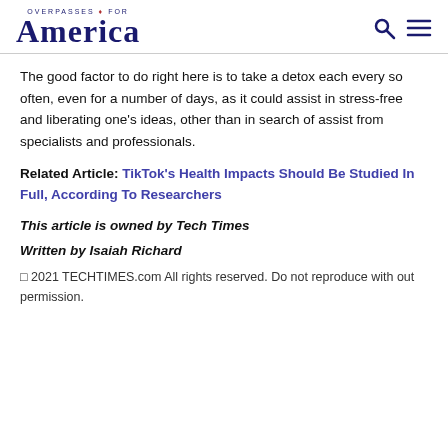OVERPASSES FOR America
The good factor to do right here is to take a detox each every so often, even for a number of days, as it could assist in stress-free and liberating one’s ideas, other than in search of assist from specialists and professionals.
Related Article: TikTok’s Health Impacts Should Be Studied In Full, According To Researchers
This article is owned by Tech Times
Written by Isaiah Richard
© 2021 TECHTIMES.com All rights reserved. Do not reproduce with out permission.